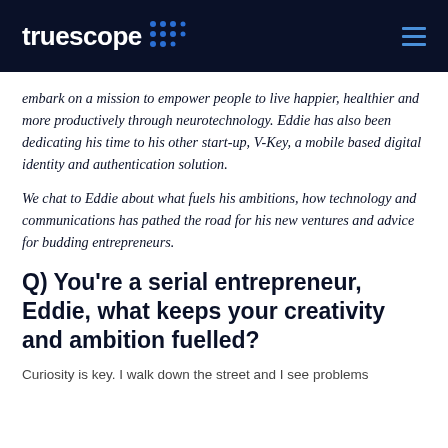truescope ≡
embark on a mission to empower people to live happier, healthier and more productively through neurotechnology. Eddie has also been dedicating his time to his other start-up, V-Key, a mobile based digital identity and authentication solution.
We chat to Eddie about what fuels his ambitions, how technology and communications has pathed the road for his new ventures and advice for budding entrepreneurs.
Q) You're a serial entrepreneur, Eddie, what keeps your creativity and ambition fuelled?
Curiosity is key. I walk down the street and I see problems